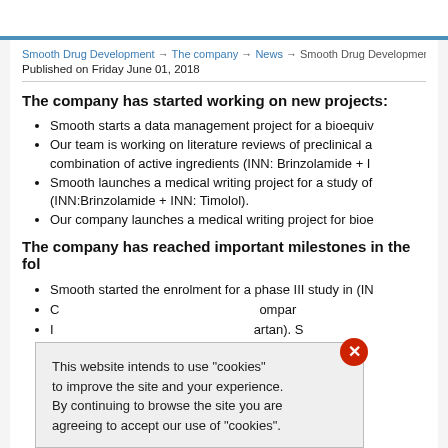Smooth Drug Development → The company → News → Smooth Drug Development N...
Published on Friday June 01, 2018
The company has started working on new projects:
Smooth starts a data management project for a bioequiv...
Our team is working on literature reviews of preclinical a... combination of active ingredients (INN: Brinzolamide + I...
Smooth launches a medical writing project for a study of... (INN:Brinzolamide + INN: Timolol).
Our company launches a medical writing project for bioe...
The company has reached important milestones in the fol...
Smooth started the enrolment for a phase III study in (IN...
...ompar...
...artan). S...
...atients...
...e of the...
...is and p...
This website intends to use "cookies" to improve the site and your experience. By continuing to browse the site you are agreeing to accept our use of "cookies".